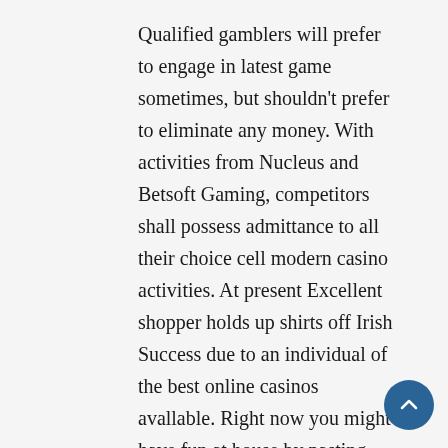Qualified gamblers will prefer to engage in latest game sometimes, but shouldn't prefer to eliminate any money. With activities from Nucleus and Betsoft Gaming, competitors shall possess admittance to all their choice cell modern casino activities. At present Excellent shopper holds up shirts off Irish Success due to an individual of the best online casinos avallable. Right now you might have fun at house by pasting